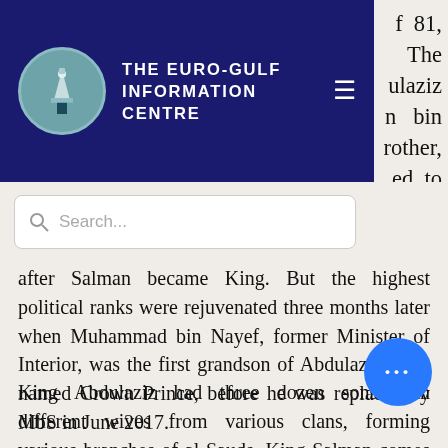[Figure (logo): The Euro-Gulf Information Centre logo with lighthouse icon in teal circle and white text on dark navy background, with hamburger menu icon]
[Figure (screenshot): Search bar with magnifying glass icon and placeholder text 'Search...']
f 81, The ulaziz n bin rother, ed to ndeed, after Salman became King. But the highest political ranks were rejuvenated three months later when Muhammad bin Nayef, former Minister of Interior, was the first grandson of Abdulaziz to be named Crown Prince, before he was replaced by MbS in June 2017.
King Abdulaziz had three dozen sons with different wives from various clans, forming various branches of al-Sauds. King Salman comes from the so-called Sudairi Seven, the largest bloc of full al-Saud brothers